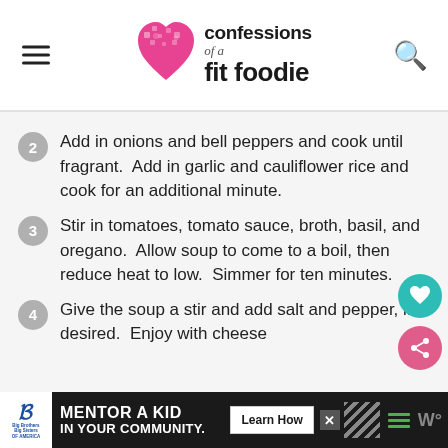confessions of a fit foodie
Add in onions and bell peppers and cook until fragrant.  Add in garlic and cauliflower rice and cook for an additional minute.
Stir in tomatoes, tomato sauce, broth, basil, and oregano.  Allow soup to come to a boil, then reduce heat to low.  Simmer for ten minutes.
Give the soup a stir and add salt and pepper, if desired.  Enjoy with cheese
[Figure (infographic): Advertisement banner: Big Brothers Big Sisters - Mentor a Kid in Your Community with Learn How button]